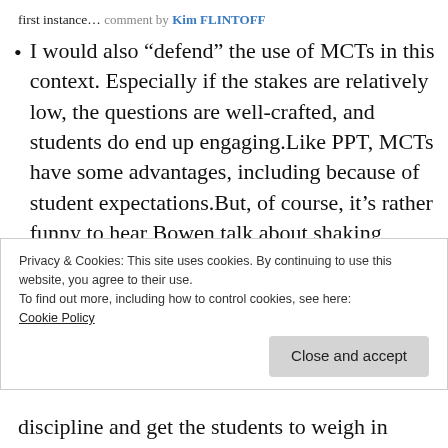first instance… comment by Kim FLINTOFF
I would also “defend” the use of MCTs in this context. Especially if the stakes are relatively low, the questions are well-crafted, and students do end up engaging.Like PPT, MCTs have some advantages, including because of student expectations.But, of course, it’s rather funny to hear Bowen talk about shaking things up and find out that he uses such tools. Still, the fact that these tests are online (and, one would think, taken
Privacy & Cookies: This site uses cookies. By continuing to use this website, you agree to their use.
To find out more, including how to control cookies, see here:
Cookie Policy
discipline and get the students to weigh in